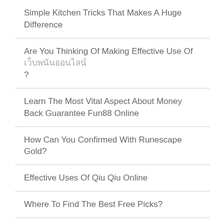Simple Kitchen Tricks That Makes A Huge Difference
Are You Thinking Of Making Effective Use Of เว็บพนันออนไลน์?
Learn The Most Vital Aspect About Money Back Guarantee Fun88 Online
How Can You Confirmed With Runescape Gold?
Effective Uses Of Qiu Qiu Online
Where To Find The Best Free Picks?
Fun88 Login9 – Have Your Covered All The Aspects?
Advantages Of Buying Party Supplies